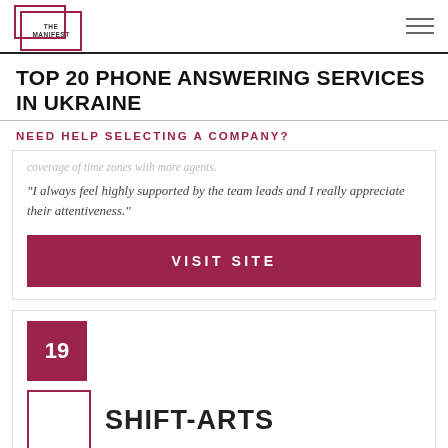THE MANIFEST
TOP 20 PHONE ANSWERING SERVICES IN UKRAINE
NEED HELP SELECTING A COMPANY?
coverage of time zones with more agents.
"I always feel highly supported by the team leads and I really appreciate their attentiveness."
VISIT SITE
19
SHIFT-ARTS